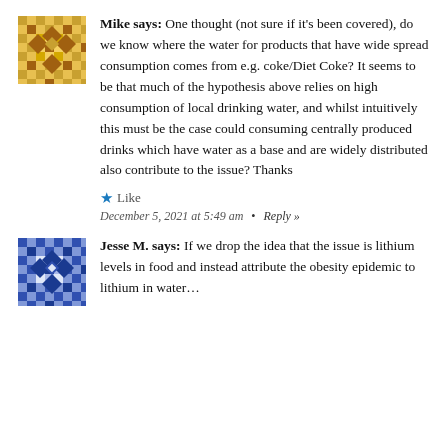[Figure (illustration): Decorative geometric mosaic avatar icon in orange/gold tones, square shape]
Mike says: One thought (not sure if it's been covered), do we know where the water for products that have wide spread consumption comes from e.g. coke/Diet Coke? It seems to be that much of the hypothesis above relies on high consumption of local drinking water, and whilst intuitively this must be the case could consuming centrally produced drinks which have water as a base and are widely distributed also contribute to the issue? Thanks
★ Like
December 5, 2021 at 5:49 am • Reply »
[Figure (illustration): Decorative geometric mosaic avatar icon in blue/white tones, square shape]
Jesse M. says: If we drop the idea that the issue is lithium levels in food and instead attribute the obesity epidemic to lithium in water...